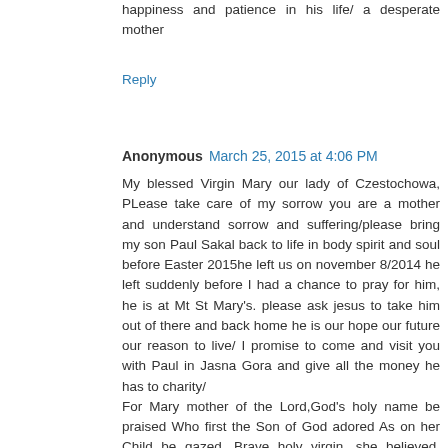happiness and patience in his life/ a desperate mother
Reply
Anonymous March 25, 2015 at 4:06 PM
My blessed Virgin Mary our lady of Czestochowa, PLease take care of my sorrow you are a mother and understand sorrow and suffering/please bring my son Paul Sakal back to life in body spirit and soul before Easter 2015he left us on november 8/2014 he left suddenly before I had a chance to pray for him, he is at Mt St Mary's. please ask jesus to take him out of there and back home he is our hope our future our reason to live/ I promise to come and visit you with Paul in Jasna Gora and give all the money he has to charity/
For Mary mother of the Lord,God's holy name be praised Who first the Son of God adored As on her Child be gazed, Brave holy virgin, she believed, Though hard the task assigned And by the Holy Ghost conceived The savior of mankind. She gave her body as God's shrine, Her heart to piercing pain,She knew the cost of love divine When Jesus